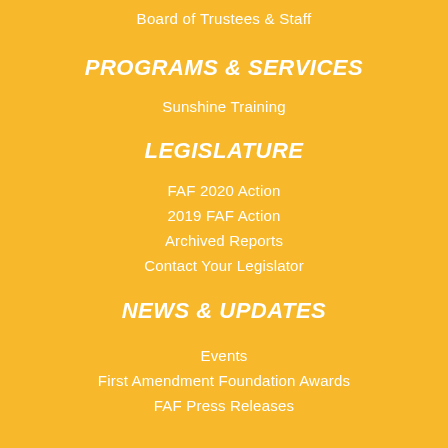Board of Trustees & Staff
PROGRAMS & SERVICES
Sunshine Training
LEGISLATURE
FAF 2020 Action
2019 FAF Action
Archived Reports
Contact Your Legislator
NEWS & UPDATES
Events
First Amendment Foundation Awards
FAF Press Releases